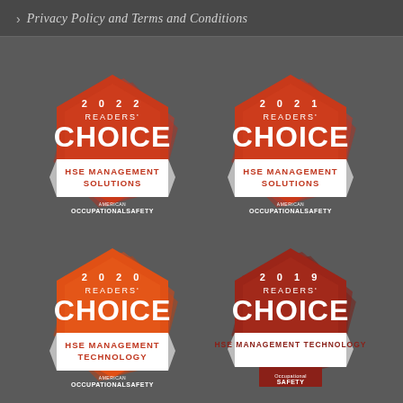> Privacy Policy and Terms and Conditions
[Figure (illustration): 2022 Readers' Choice badge for HSE Management Solutions — red/orange hexagonal rosette badge with white banner, American Occupational Safety magazine]
[Figure (illustration): 2021 Readers' Choice badge for HSE Management Solutions — red/orange hexagonal rosette badge with white banner, American Occupational Safety magazine]
[Figure (illustration): 2020 Readers' Choice badge for HSE Management Technology — orange hexagonal rosette badge with white banner, American Occupational Safety magazine]
[Figure (illustration): 2019 Readers' Choice badge for HSE Management Technology — dark red hexagonal rosette badge with white banner, Occupational Safety magazine]